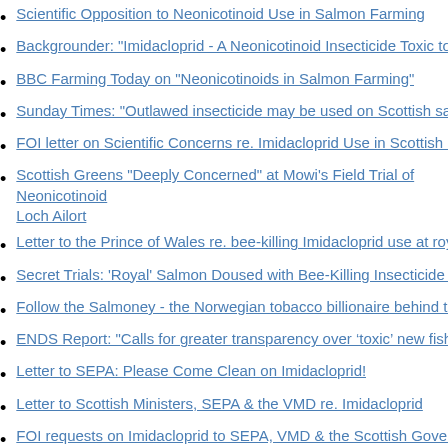Scientific Opposition to Neonicotinoid Use in Salmon Farming
Backgrounder: "Imidacloprid - A Neonicotinoid Insecticide Toxic to Aquatic…
BBC Farming Today on "Neonicotinoids in Salmon Farming"
Sunday Times: "Outlawed insecticide may be used on Scottish salmon"
FOI letter on Scientific Concerns re. Imidacloprid Use in Scottish Salmon Fa…
Scottish Greens "Deeply Concerned" at Mowi's Field Trial of Neonicotinoid… Loch Ailort
Letter to the Prince of Wales re. bee-killing Imidacloprid use at royal warran…
Secret Trials: 'Royal' Salmon Doused with Bee-Killing Insecticide Imidaclop…
Follow the Salmoney - the Norwegian tobacco billionaire behind the Neonic…
ENDS Report: "Calls for greater transparency over 'toxic' new fish farm pro…
Letter to SEPA: Please Come Clean on Imidacloprid!
Letter to Scottish Ministers, SEPA & the VMD re. Imidacloprid
FOI requests on Imidacloprid to SEPA, VMD & the Scottish Government
Revealed: Toxic Neonicotinoid Insecticide Used to 'CleanTreat' Lousy Salme…
Please Come Clean on BMK08!
Sunday Times: "Official fears revealed over toxic threat of salmon trade"…